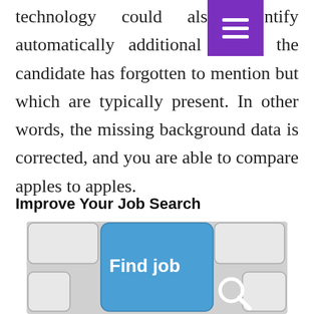technology could also identify automatically additional details the candidate has forgotten to mention but which are typically present. In other words, the missing background data is corrected, and you are able to compare apples to apples.
Improve Your Job Search
[Figure (photo): Blue keyboard key labeled 'Find job' with a magnifying glass icon on a light gray keyboard]